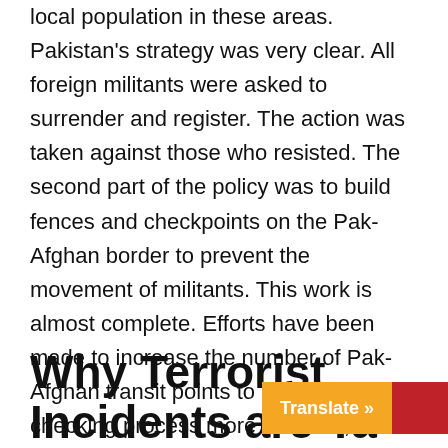local population in these areas. Pakistan's strategy was very clear. All foreign militants were asked to surrender and register. The action was taken against those who resisted. The second part of the policy was to build fences and checkpoints on the Pak-Afghan border to prevent the movement of militants. This work is almost complete. Efforts have been made to increase the number of Pak-Afghan transit points to make the checking process more effective, but there are still many unguarded areas through which terrorists can sneak into Pakistan and carry out destructive activities.
Why Terrorist Incidents are Ta...